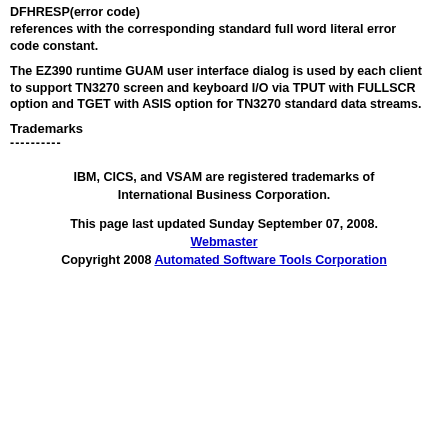DFHRESP(error code) references with the corresponding standard full word literal error code constant.
The EZ390 runtime GUAM user interface dialog is used by each client to support TN3270 screen and keyboard I/O via TPUT with FULLSCR option and TGET with ASIS option for TN3270 standard data streams.
Trademarks
----------
IBM, CICS, and VSAM are registered trademarks of International Business Corporation.
This page last updated Sunday September 07, 2008. Webmaster Copyright 2008 Automated Software Tools Corporation